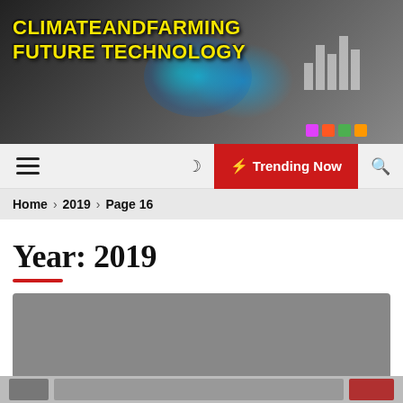[Figure (illustration): Website header banner for ClimateAndFarming Future Technology blog, showing a futuristic technology illustration with a globe, holographic figures, bar charts, and colorful 3D elements on a dark background. Yellow bold text reads CLIMATEANDFARMING FUTURE TECHNOLOGY.]
CLIMATEANDFARMING FUTURE TECHNOLOGY
☰  ☽  ⚡ Trending Now  🔍
Home › 2019 › Page 16
Year: 2019
[Figure (photo): Partially visible article thumbnail card — a gray placeholder image at top, with small thumbnail images visible at the bottom edge of the page.]